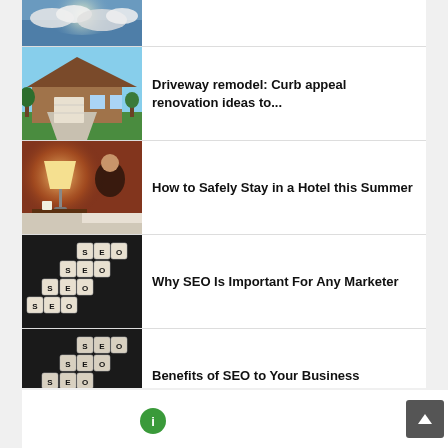[Figure (photo): Partial view of clouds/sky image at the top of the list]
[Figure (photo): House with driveway and green lawn]
Driveway remodel: Curb appeal renovation ideas to...
[Figure (photo): Person in hotel room with lamp]
How to Safely Stay in a Hotel this Summer
[Figure (photo): SEO tiles/scrabble pieces on dark background]
Why SEO Is Important For Any Marketer
[Figure (photo): SEO tiles/scrabble pieces on dark background]
Benefits of SEO to Your Business